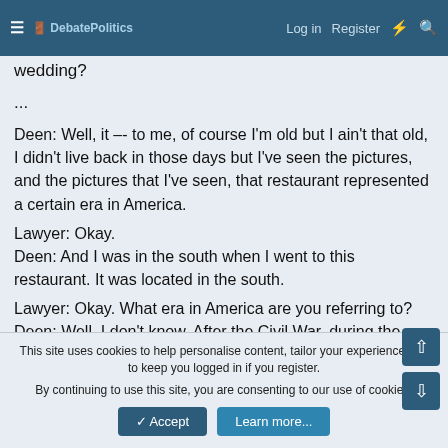≡ DebatePolitics  Log in  Register  ⚡  🔍
wedding?
...
Deen: Well, it –- to me, of course I'm old but I ain't that old, I didn't live back in those days but I've seen the pictures, and the pictures that I've seen, that restaurant represented a certain era in America.
Lawyer: Okay.
Deen: And I was in the south when I went to this restaurant. It was located in the south.
Lawyer: Okay. What era in America are you referring to?
Deen: Well, I don't know. After the Civil War, during the Civil War,
This site uses cookies to help personalise content, tailor your experience and to keep you logged in if you register.
By continuing to use this site, you are consenting to our use of cookies.